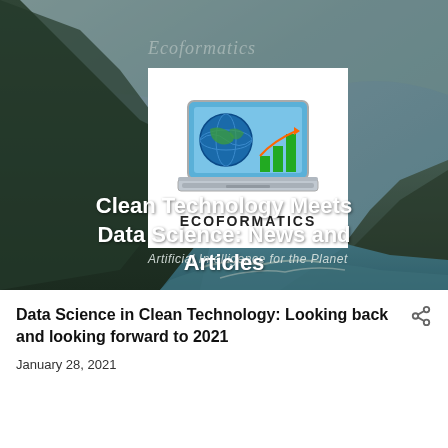[Figure (photo): Coastal landscape with dark green cliffs, ocean waves and rocky shore. Hero banner background for Ecoformatics website.]
Ecoformatics
[Figure (logo): Ecoformatics logo: laptop computer with globe and bar chart on screen, text ECOFORMATICS below]
Artificial Intelligence for the Planet
Clean Technology Meets Data Science: News and Articles
Data Science in Clean Technology: Looking back and looking forward to 2021
January 28, 2021